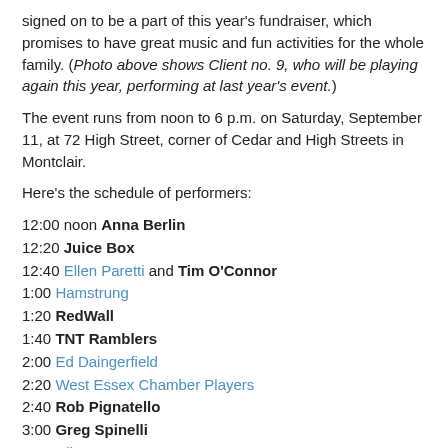signed on to be a part of this year's fundraiser, which promises to have great music and fun activities for the whole family. (Photo above shows Client no. 9, who will be playing again this year, performing at last year's event.)
The event runs from noon to 6 p.m. on Saturday, September 11, at 72 High Street, corner of Cedar and High Streets in Montclair.
Here's the schedule of performers:
12:00 noon Anna Berlin
12:20 Juice Box
12:40 Ellen Paretti and Tim O'Connor
1:00 Hamstrung
1:20 RedWall
1:40 TNT Ramblers
2:00 Ed Daingerfield
2:20 West Essex Chamber Players
2:40 Rob Pignatello
3:00 Greg Spinelli
3:20 Client No. 9